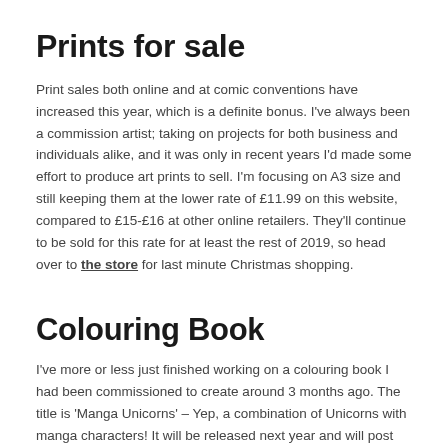Prints for sale
Print sales both online and at comic conventions have increased this year, which is a definite bonus. I've always been a commission artist; taking on projects for both business and individuals alike, and it was only in recent years I'd made some effort to produce art prints to sell. I'm focusing on A3 size and still keeping them at the lower rate of £11.99 on this website, compared to £15-£16 at other online retailers. They'll continue to be sold for this rate for at least the rest of 2019, so head over to the store for last minute Christmas shopping.
Colouring Book
I've more or less just finished working on a colouring book I had been commissioned to create around 3 months ago. The title is 'Manga Unicorns' – Yep, a combination of Unicorns with manga characters! It will be released next year and will post some more info once it's available. To work on a colouring book had been on my to-do list for a long time after the adult colouring book boom started around 3 or 4 years ago but at the time I was still busy